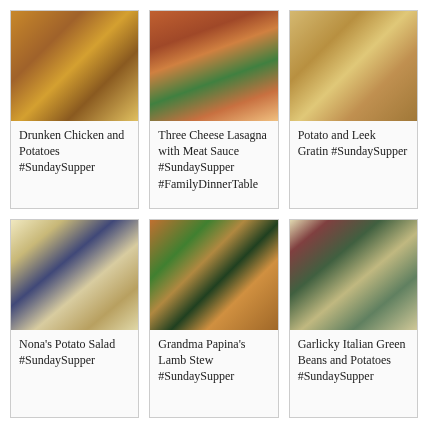[Figure (photo): Roasted chicken on a plate with potatoes]
Drunken Chicken and Potatoes #SundaySupper
[Figure (photo): Slice of layered lasagna with meat sauce and a salad]
Three Cheese Lasagna with Meat Sauce #SundaySupper #FamilyDinnerTable
[Figure (photo): Potato and leek gratin in a white baking dish]
Potato and Leek Gratin #SundaySupper
[Figure (photo): Potato salad in blue bowls with a spoon]
Nona's Potato Salad #SundaySupper
[Figure (photo): Lamb stew with vegetables and olives]
Grandma Papina's Lamb Stew #SundaySupper
[Figure (photo): Garlicky Italian green beans and potatoes in a bowl]
Garlicky Italian Green Beans and Potatoes #SundaySupper